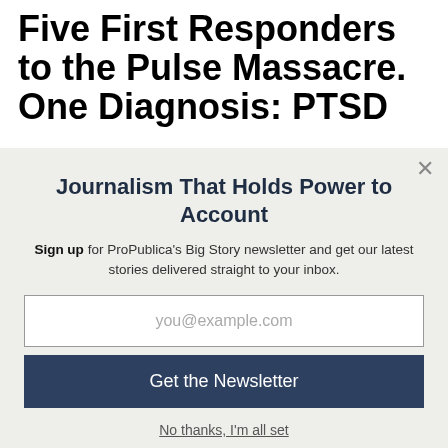Five First Responders to the Pulse Massacre. One Diagnosis: PTSD
Journalism That Holds Power to Account
Sign up for ProPublica's Big Story newsletter and get our latest stories delivered straight to your inbox.
you@example.com
Get the Newsletter
No thanks, I'm all set
This site is protected by reCAPTCHA and the Google Privacy Policy and Terms of Service apply.